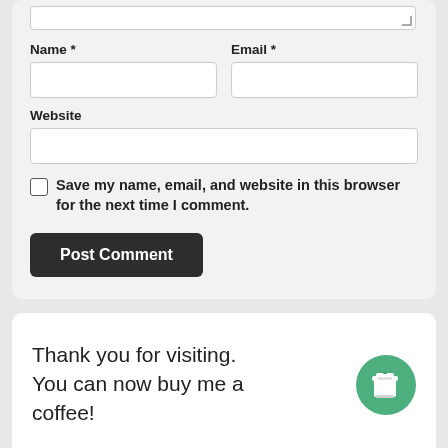Name *
Email *
Website
Save my name, email, and website in this browser for the next time I comment.
Post Comment
Thank you for visiting. You can now buy me a coffee!